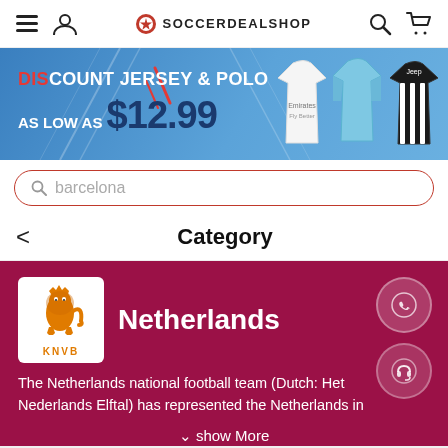SOCCERDEALSHOP
[Figure (screenshot): Promotional banner for discount jerseys and polo starting at $12.99, showing three soccer jerseys on the right side]
DISCOUNT JERSEY & POLO AS LOW AS $12.99
barcelona (search bar)
Category
[Figure (logo): KNVB Netherlands national football team logo - orange lion on white background]
Netherlands
The Netherlands national football team (Dutch: Het Nederlands Elftal) has represented the Netherlands in
show More
New Arrival